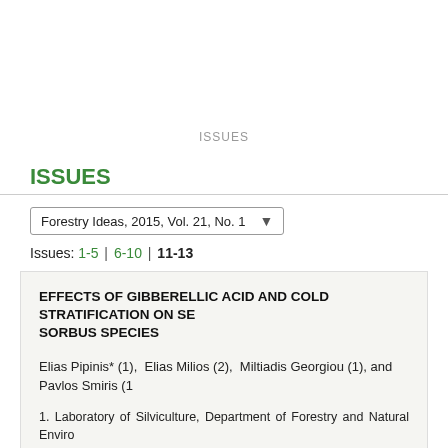ISSUES
ISSUES
Forestry Ideas, 2015, Vol. 21, No. 1
Issues: 1-5 | 6-10 | 11-13
EFFECTS OF GIBBERELLIC ACID AND COLD STRATIFICATION ON SE... SORBUS SPECIES
Elias Pipinis* (1),  Elias Milios (2),  Miltiadis Georgiou (1), and Pavlos Smiris (1...
1. Laboratory of Silviculture, Department of Forestry and Natural Enviro... Thessaloniki, 54124 Thessaloniki, Greece. *E-mail: epipinis@for.auth.gr
2. Department of Forestry and Management of the Environment and Na... University of Thrace, Pandazidou 193, 68200 Orestiada, Greece.